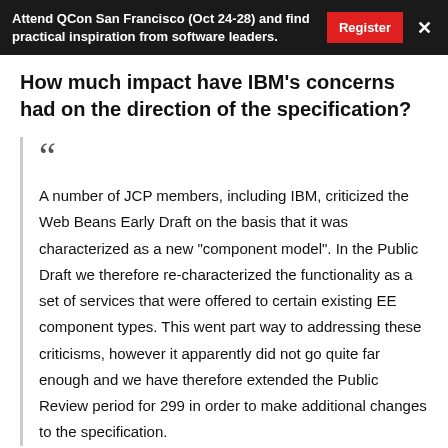Attend QCon San Francisco (Oct 24-28) and find practical inspiration from software leaders. Register ×
How much impact have IBM's concerns had on the direction of the specification?
A number of JCP members, including IBM, criticized the Web Beans Early Draft on the basis that it was characterized as a new "component model". In the Public Draft we therefore re-characterized the functionality as a set of services that were offered to certain existing EE component types. This went part way to addressing these criticisms, however it apparently did not go quite far enough and we have therefore extended the Public Review period for 299 in order to make additional changes to the specification.